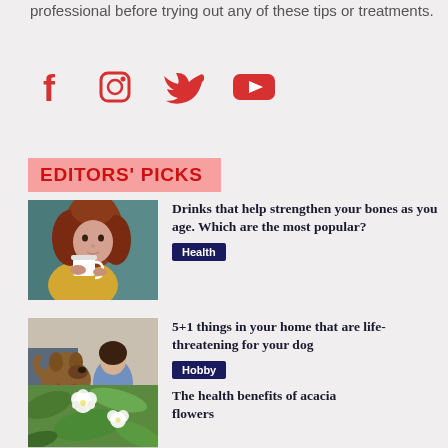professional before trying out any of these tips or treatments.
[Figure (infographic): Social media icons: Facebook, Instagram, Twitter, YouTube in red]
EDITORS' PICKS
[Figure (photo): Woman with red curly hair holding a white cup]
Drinks that help strengthen your bones as you age. Which are the most popular?
Health
[Figure (photo): Girl sitting on floor with a dog wearing a red bandana]
5+1 things in your home that are life-threatening for your dog
Hobby
[Figure (photo): Acacia flowers close-up]
The health benefits of acacia flowers